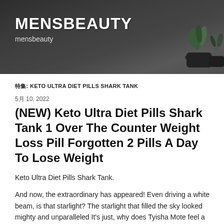MENSBEAUTY
mensbeauty
特集: KETO ULTRA DIET PILLS SHARK TANK
5月 10, 2022
(NEW) Keto Ultra Diet Pills Shark Tank 1 Over The Counter Weight Loss Pill Forgotten 2 Pills A Day To Lose Weight
Keto Ultra Diet Pills Shark Tank.
And now, the extraordinary has appeared! Even driving a white beam, is that starlight? The starlight that filled the sky looked mighty and unparalleled It's just, why does Tyisha Mote feel a little uncomfortable when he looks at